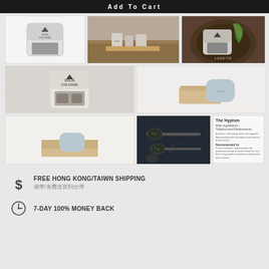Add To Cart
[Figure (photo): Product photo 1 - solid cologne tin on white background]
[Figure (photo): Product photo 2 - cologne products on wooden table]
[Figure (photo): Product photo 3 - cologne tin on dark wood with plant, LUDDITE branding]
[Figure (photo): Product photo 4 - solid cologne open tin on marble surface]
[Figure (photo): Product photo 5 - cologne soap bar and wooden box on white]
[Figure (photo): Product photo 6 - cologne soap bar on open wooden box, white background]
[Figure (photo): Product photo 7 - dark photo with spoons and herbs/tobacco ingredients]
The Hyphen
Main Ingredients /
Tobacco and Frankincense.
Recommended for: Proven well-done, professionals and passionate people of varied artisan for men, the 5 unique paths created for professionals and creatives.
$ FREE HONG KONG/TAIWN SHIPPING
港幣/免費送貨到台灣
7-DAY 100% MONEY BACK